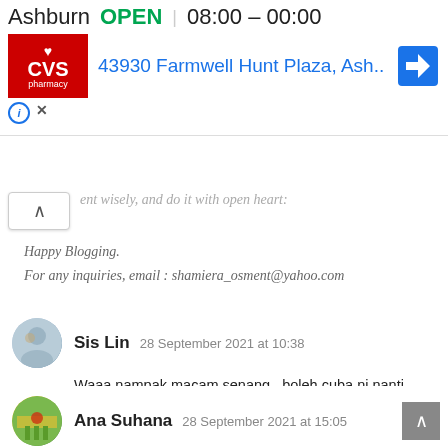[Figure (screenshot): CVS Pharmacy advertisement banner showing location in Ashburn, OPEN 08:00 - 00:00, address 43930 Farmwell Hunt Plaza, Ash.., with CVS Pharmacy logo and navigation arrow icon]
ent wisely, and do it with open heart:
Happy Blogging.
For any inquiries, email : shamiera_osment@yahoo.com
Sis Lin  28 September 2021 at 10:38
Waaa nampak macam senang.. boleh cuba ni nanti, lama tak membaking,.
Pstt baju vaksin awak tu sama kita, kita punya color purple hehehe
Ana Suhana  28 September 2021 at 15:05
So colorful cake rainbow dia. Tengok je pun dah